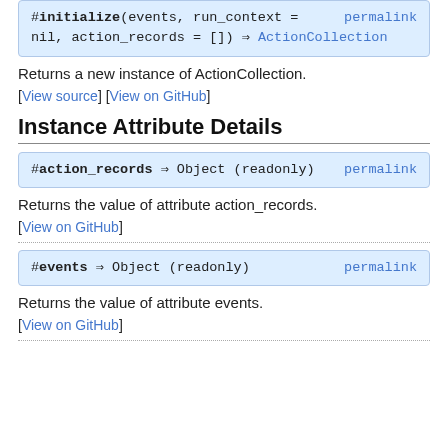#initialize(events, run_context = nil, action_records = []) ⇒ ActionCollection permalink
Returns a new instance of ActionCollection.
[View source] [View on GitHub]
Instance Attribute Details
#action_records ⇒ Object (readonly) permalink
Returns the value of attribute action_records.
[View on GitHub]
#events ⇒ Object (readonly) permalink
Returns the value of attribute events.
[View on GitHub]